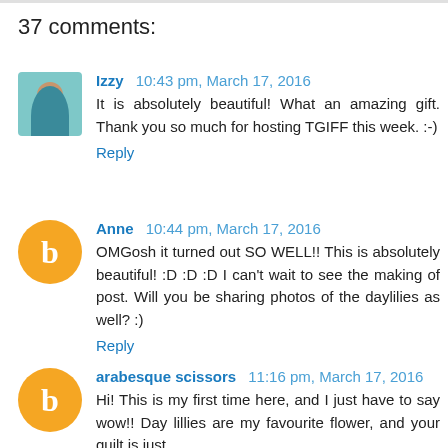37 comments:
Izzy 10:43 pm, March 17, 2016
It is absolutely beautiful! What an amazing gift. Thank you so much for hosting TGIFF this week. :-)
Reply
Anne 10:44 pm, March 17, 2016
OMGosh it turned out SO WELL!! This is absolutely beautiful! :D :D :D I can't wait to see the making of post. Will you be sharing photos of the daylilies as well? :)
Reply
arabesque scissors 11:16 pm, March 17, 2016
Hi! This is my first time here, and I just have to say wow!! Day lillies are my favourite flower, and your quilt is just